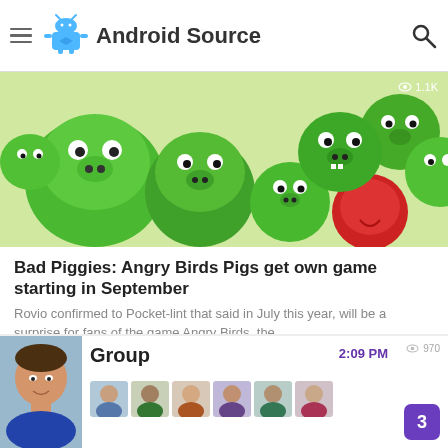Android Source
[Figure (photo): Angry Birds Bad Piggies promotional image showing multiple green pig characters and a red Angry Bird character against a light background. View count shows 1.1K.]
Bad Piggies: Angry Birds Pigs get own game starting in September
Rovio confirmed to Pocket-lint that said in July this year, will be a surprise for fans of the game Angry Birds, the...
[Figure (screenshot): A messaging app card showing a group conversation. Profile photo of a man on the left. Group name 'Group' with time '2:09 PM'. Multiple avatar thumbnails visible. Badge showing '3' unread messages. View count 970.]